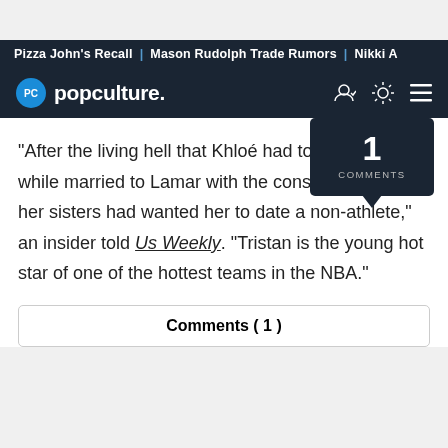Pizza John's Recall | Mason Rudolph Trade Rumors | Nikki A
popculture.
"After the living hell that Khloé had to deal with while married to Lamar with the constant cheating, her sisters had wanted her to date a non-athlete," an insider told Us Weekly. "Tristan is the young hot star of one of the hottest teams in the NBA."
Comments ( 1 )